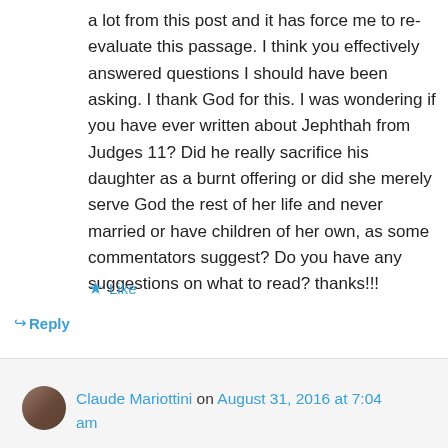a lot from this post and it has force me to re-evaluate this passage. I think you effectively answered questions I should have been asking. I thank God for this. I was wondering if you have ever written about Jephthah from Judges 11? Did he really sacrifice his daughter as a burnt offering or did she merely serve God the rest of her life and never married or have children of her own, as some commentators suggest? Do you have any suggestions on what to read? thanks!!!
★ Like
↳ Reply
Claude Mariottini on August 31, 2016 at 7:04 am